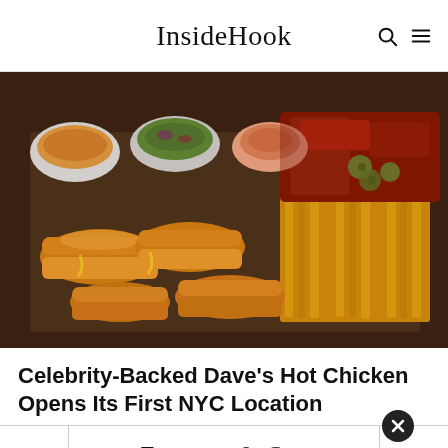InsideHook
[Figure (photo): Overhead shot of a food spread including hot chicken tenders with pickles, crinkle-cut fries, slider sandwiches, bowls of mac and cheese and coleslaw, and a dipping sauce, arranged on a tray.]
Celebrity-Backed Dave's Hot Chicken Opens Its First NYC Location
[Figure (logo): Tiffany & Co. advertisement banner with close button]